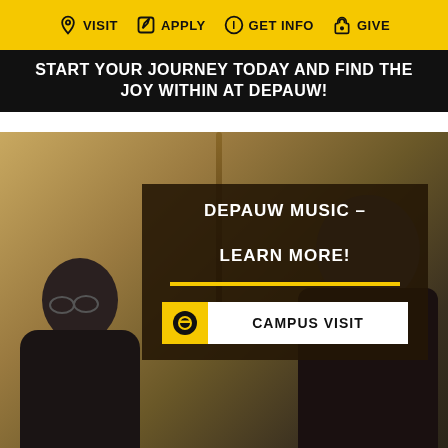VISIT  APPLY  GET INFO  GIVE
START YOUR JOURNEY TODAY AND FIND THE JOY WITHIN AT DEPAUW!
[Figure (photo): Two musicians in a concert hall, one young woman with glasses and one older man smiling, with a violin bow visible]
DEPAUW MUSIC – LEARN MORE!
CAMPUS VISIT